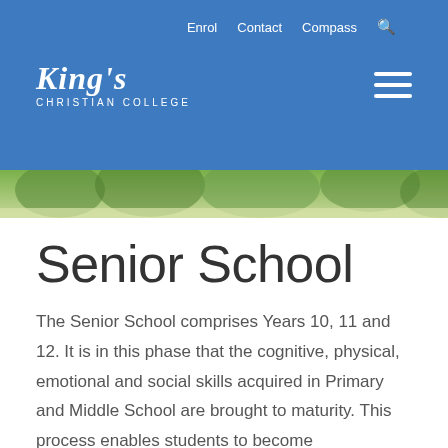King's Christian College — Enrol | Contact | Compass
[Figure (photo): Outdoor greenery/trees hero image strip behind navigation bar]
Senior School
The Senior School comprises Years 10, 11 and 12. It is in this phase that the cognitive, physical, emotional and social skills acquired in Primary and Middle School are brought to maturity. This process enables students to become